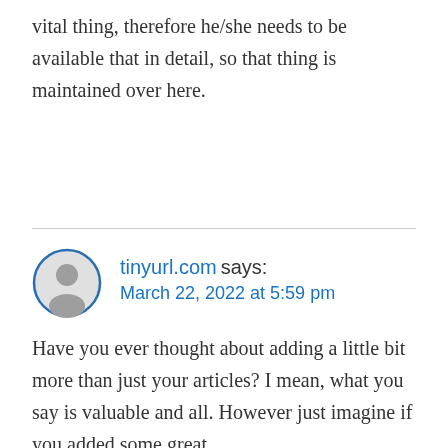vital thing, therefore he/she needs to be available that in detail, so that thing is maintained over here.
tinyurl.com says: March 22, 2022 at 5:59 pm
Have you ever thought about adding a little bit more than just your articles? I mean, what you say is valuable and all. However just imagine if you added some great